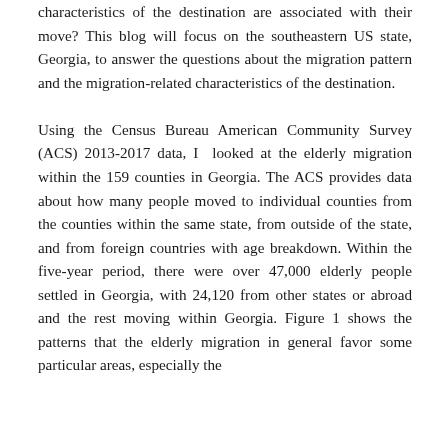characteristics of the destination are associated with their move? This blog will focus on the southeastern US state, Georgia, to answer the questions about the migration pattern and the migration-related characteristics of the destination.

Using the Census Bureau American Community Survey (ACS) 2013-2017 data, I looked at the elderly migration within the 159 counties in Georgia. The ACS provides data about how many people moved to individual counties from the counties within the same state, from outside of the state, and from foreign countries with age breakdown. Within the five-year period, there were over 47,000 elderly people settled in Georgia, with 24,120 from other states or abroad and the rest moving within Georgia. Figure 1 shows the patterns that the elderly migration in general favor some particular areas, especially the